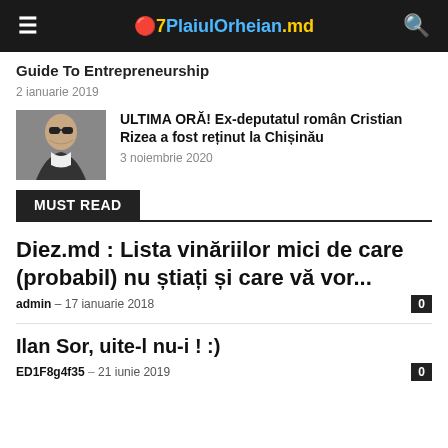PlaiulOrheian.md
Guide To Entrepreneurship
2 ianuarie 2019
[Figure (photo): Photo of a man wearing sunglasses and a dark jacket]
ULTIMA ORĂ! Ex-deputatul român Cristian Rizea a fost reținut la Chișinău
3 noiembrie 2020
MUST READ
Diez.md : Lista vinăriilor mici de care (probabil) nu știați și care vă vor...
admin – 17 ianuarie 2018
Ilan Sor, uite-l nu-i ! :)
ED1F8g4f35 – 21 iunie 2019